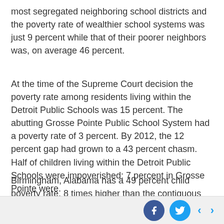most segregated neighboring school districts and the poverty rate of wealthier school systems was just 9 percent while that of their poorer neighbors was, on average 46 percent.
At the time of the Supreme Court decision the poverty rate among residents living within the Detroit Public Schools was 15 percent. The abutting Grosse Pointe Public School System had a poverty rate of 3 percent. By 2012, the 12 percent gap had grown to a 43 percent chasm. Half of children living within the Detroit Public Schools were impoverished; 7 percent in Grosse Pointe were.
Birmingham, Alabama has a 49 percent child poverty rate, 8 times higher than the contiguous school districts of Vestavia Hills and Mountain